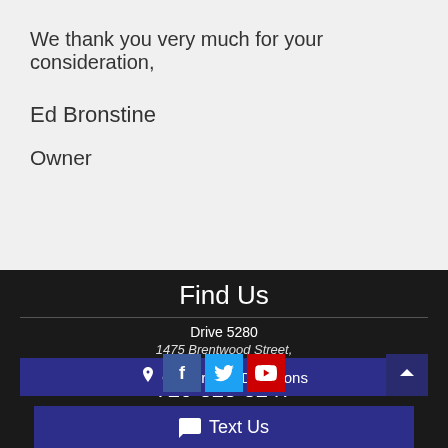We thank you very much for your consideration,
Ed Bronstine
Owner
Find Us
Drive 5280
1475 Brentwood Street,
Lakewood, CO 80214
720-328-8247
Get Driving Directions
[Figure (infographic): Social media icons: Facebook (blue), Twitter (light blue), YouTube (red)]
Text Us